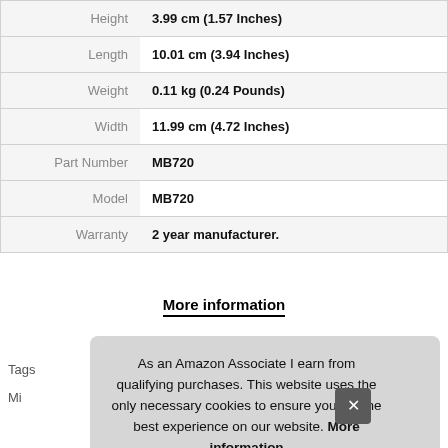| Attribute | Value |
| --- | --- |
| Height | 3.99 cm (1.57 Inches) |
| Length | 10.01 cm (3.94 Inches) |
| Weight | 0.11 kg (0.24 Pounds) |
| Width | 11.99 cm (4.72 Inches) |
| Part Number | MB720 |
| Model | MB720 |
| Warranty | 2 year manufacturer. |
More information
As an Amazon Associate I earn from qualifying purchases. This website uses the only necessary cookies to ensure you get the best experience on our website. More information